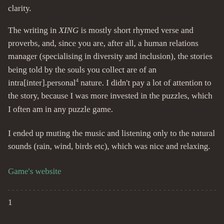clarity.
The writing in XING is mostly short rhymed verse and proverbs, and, since you are, after all, a human relations manager (specialising in diversity and inclusion), the stories being told by the souls you collect are of an intra[inter].personal⁴ nature. I didn't pay a lot of attention to the story, because I was more invested in the puzzles, which I often am in any puzzle game.
I ended up muting the music and listening only to the natural sounds (rain, wind, birds etc), which was nice and relaxing.
Game's website
- - - - - - - - - - - - - - - - - - - - - - - - - - - - - - - - - - - - - - - - - - - - - - - - - - - - - - - - - - - - - - - - - - -
1